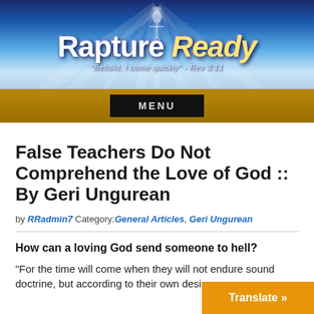[Figure (screenshot): Rapture Ready website header banner with blue sky background, light rays, and gold navigation bar with MENU button. Logo reads 'Rapture Ready' with subtitle 'Behold, I come quickly - Rev 3:11']
False Teachers Do Not Comprehend the Love of God :: By Geri Ungurean
by RRadmin7 Category: General Articles, Geri Ungurean
How can a loving God send someone to hell?
“For the time will come when they will not endure sound doctrine, but according to their own desire